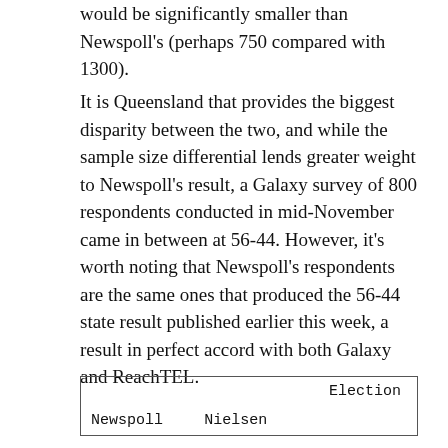would be significantly smaller than Newspoll's (perhaps 750 compared with 1300).
It is Queensland that provides the biggest disparity between the two, and while the sample size differential lends greater weight to Newspoll's result, a Galaxy survey of 800 respondents conducted in mid-November came in between at 56-44. However, it's worth noting that Newspoll's respondents are the same ones that produced the 56-44 state result published earlier this week, a result in perfect accord with both Galaxy and ReachTEL.
| Newspoll | Nielsen | Election |
| --- | --- | --- |